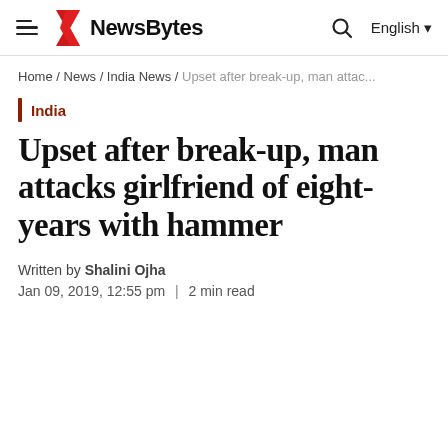NewsBytes — English
Home / News / India News / Upset after break-up, man attac...
India
Upset after break-up, man attacks girlfriend of eight-years with hammer
Written by Shalini Ojha
Jan 09, 2019, 12:55 pm | 2 min read